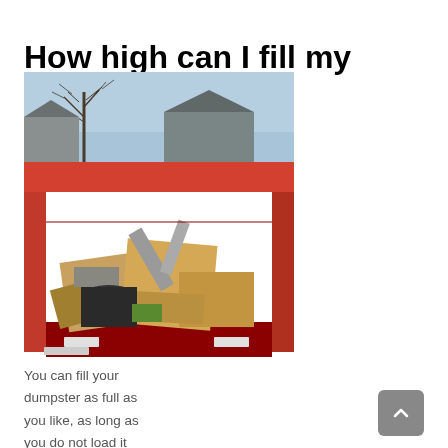How high can I fill my dumpster?
[Figure (photo): Photo of a red dumpster filled with debris and cardboard in a residential neighborhood with bare trees and buildings in the background.]
You can fill your dumpster as full as you like, as long as you do not load it higher compared to the sides of the container. Over filling the dumpster could cause the waste or debris to slide off as the dumpster is loaded onto the truck or as the truck is driving. Overloaded or overweight dumpsters are simply not safe, and businesses don't take unsafe loads as a way to protect motorists and passengers on the road.